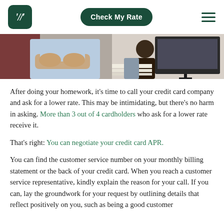Check My Rate
[Figure (photo): Split image: left side shows a person in a light blue shirt with arms crossed; right side shows a person working at a computer/monitor with papers]
After doing your homework, it's time to call your credit card company and ask for a lower rate. This may be intimidating, but there's no harm in asking. More than 3 out of 4 cardholders who ask for a lower rate receive it.
That's right: You can negotiate your credit card APR.
You can find the customer service number on your monthly billing statement or the back of your credit card. When you reach a customer service representative, kindly explain the reason for your call. If you can, lay the groundwork for your request by outlining details that reflect positively on you, such as being a good customer